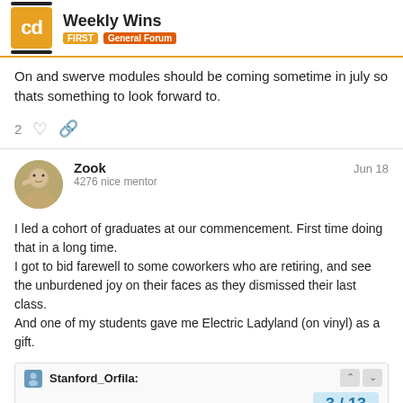Weekly Wins — FIRST > General Forum
On and swerve modules should be coming sometime in july so thats something to look forward to.
2 ♡ 🔗
Zook  Jun 18
4276 nice mentor
I led a cohort of graduates at our commencement. First time doing that in a long time.
I got to bid farewell to some coworkers who are retiring, and see the unburdened joy on their faces as they dismissed their last class.
And one of my students gave me Electric Ladyland (on vinyl) as a gift.
Stanford_Orfila:
As a consequence of this
3 / 13